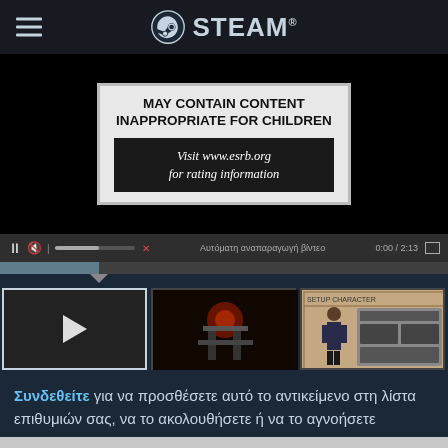STEAM
[Figure (screenshot): Video player showing ESRB content warning: MAY CONTAIN CONTENT INAPPROPRIATE FOR CHILDREN. Visit www.esrb.org for rating information. Video controls show 0:00 / 2:13 with autoplay option in Greek.]
[Figure (screenshot): Row of game thumbnails: first is a dark video thumbnail with play button (selected/active), second shows a dark industrial scene with red light, third shows a character with equipment screen, fourth is partially visible dark action scene.]
Συνδεθείτε για να προσθέσετε αυτό το αντικείμενο στη λίστα επιθυμιών σας, να το ακολουθήσετε ή να το αγνοήσετε
[Figure (screenshot): Two action buttons: share button (upload icon) and flag/report button, both in blue.]